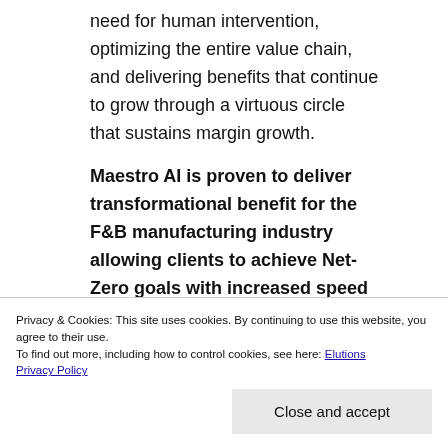need for human intervention, optimizing the entire value chain, and delivering benefits that continue to grow through a virtuous circle that sustains margin growth.
Maestro AI is proven to deliver transformational benefit for the F&B manufacturing industry allowing clients to achieve Net-Zero goals with increased speed
Click subscribe below to
Privacy & Cookies: This site uses cookies. By continuing to use this website, you agree to their use. To find out more, including how to control cookies, see here: Elutions Privacy Policy